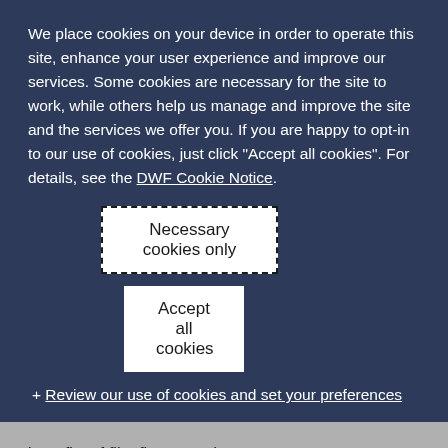We place cookies on your device in order to operate this site, enhance your user experience and improve our services. Some cookies are necessary for the site to work, while others help us manage and improve the site and the services we offer you. If you are happy to opt-in to our use of cookies, just click "Accept all cookies". For details, see the DWF Cookie Notice.
Necessary cookies only
Accept all cookies
+ Review our use of cookies and set your preferences
benefits of film finance schemes, yet many successful films, including Atonement, Avatar and Life of Pi were funded in this way.  It may be difficult to determine if a tax arrangement is "highly artificial" or "highly contrived" until after the event   and, of course, much tax advice